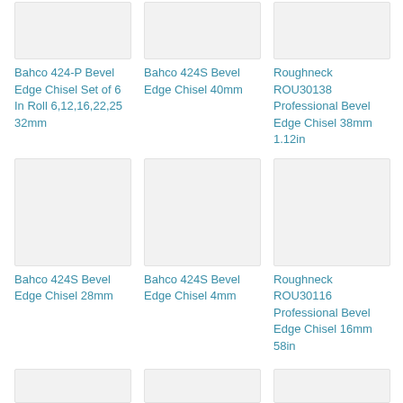[Figure (photo): Product image placeholder for Bahco 424-P Bevel Edge Chisel Set]
Bahco 424-P Bevel Edge Chisel Set of 6 In Roll 6,12,16,22,25 32mm
[Figure (photo): Product image placeholder for Bahco 424S Bevel Edge Chisel 40mm]
Bahco 424S Bevel Edge Chisel 40mm
[Figure (photo): Product image placeholder for Roughneck ROU30138 Professional Bevel Edge Chisel 38mm]
Roughneck ROU30138 Professional Bevel Edge Chisel 38mm 1.12in
[Figure (photo): Product image placeholder for Bahco 424S Bevel Edge Chisel 28mm]
Bahco 424S Bevel Edge Chisel 28mm
[Figure (photo): Product image placeholder for Bahco 424S Bevel Edge Chisel 4mm]
Bahco 424S Bevel Edge Chisel 4mm
[Figure (photo): Product image placeholder for Roughneck ROU30116 Professional Bevel Edge Chisel 16mm]
Roughneck ROU30116 Professional Bevel Edge Chisel 16mm 58in